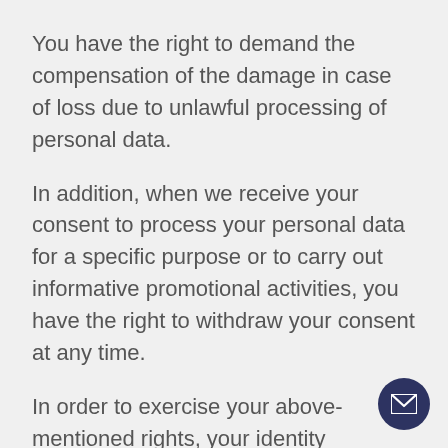You have the right to demand the compensation of the damage in case of loss due to unlawful processing of personal data.
In addition, when we receive your consent to process your personal data for a specific purpose or to carry out informative promotional activities, you have the right to withdraw your consent at any time.
In order to exercise your above-mentioned rights, your identity information, the right you want to use and your request in detail, by filling out the “Application Form Pursuant to the Law on the Protection of Personal Data” on the website www.bestdentalistanbul.com and a wet signed copy